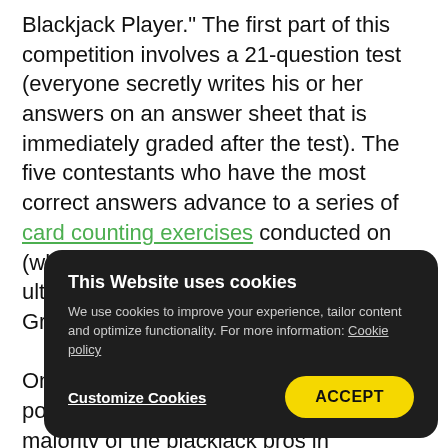Blackjack Player." The first part of this competition involves a 21-question test (everyone secretly writes his or her answers on an answer sheet that is immediately graded after the test). The five contestants who have the most correct answers advance to a series of card counting exercises conducted on (what else) a live blackjack table to ultimately determine the “World’s Greatest Blackjack Player."
One of the test questions was on video poker. (This is not unusual since the majority of the blackjack pros in...
This Website uses cookies
We use cookies to improve your experience, tailor content and optimize functionality. For more information: Cookie policy
Customize Cookies   ACCEPT